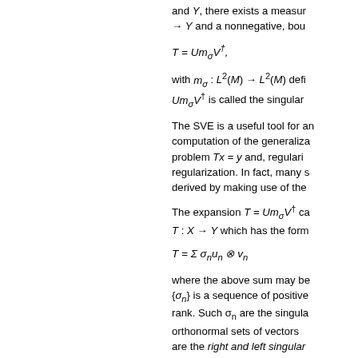and Y, there exists a measure → Y and a nonnegative, bou
with m_σ: L²(M) → L²(M) defi Um_σV† is called the singular
The SVE is a useful tool for an computation of the generalization problem Tx = y and, regulari regularization. In fact, many s derived by making use of the
The expansion T = Um_σV† ca T: X → Y which has the form
where the above sum may be {σ_n} is a sequence of positive rank. Such σ_n are the singula orthonormal sets of vectors are the right and left singular denoted R_ess(σ), forms a seq